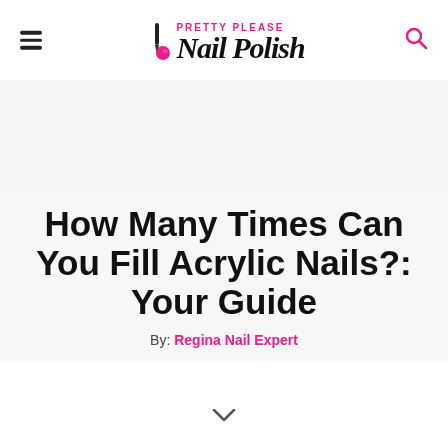Pretty Please Nail Polish
How Many Times Can You Fill Acrylic Nails?: Your Guide
By: Regina Nail Expert